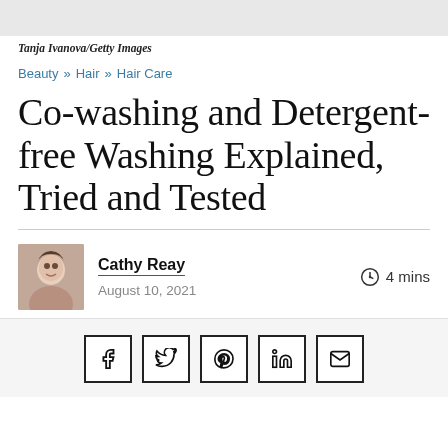[Figure (photo): Gray placeholder image at the top of the page]
Tanja Ivanova/Getty Images
Beauty » Hair » Hair Care
Co-washing and Detergent-free Washing Explained, Tried and Tested
Cathy Reay
August 10, 2021
4 mins
[Figure (infographic): Social share buttons: Facebook, Twitter, Pinterest, LinkedIn, Email]